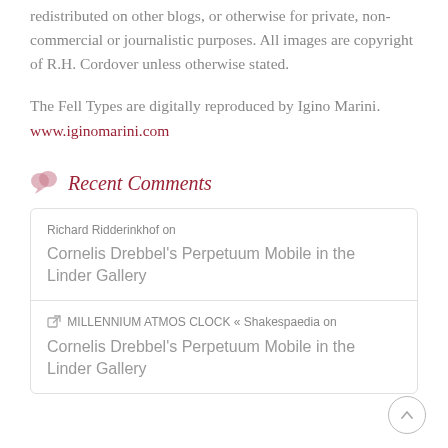redistributed on other blogs, or otherwise for private, non-commercial or journalistic purposes. All images are copyright of R.H. Cordover unless otherwise stated.
The Fell Types are digitally reproduced by Igino Marini. www.iginomarini.com
Recent Comments
Richard Ridderinkhof on
Cornelis Drebbel's Perpetuum Mobile in the Linder Gallery
MILLENNIUM ATMOS CLOCK « Shakespaedia on
Cornelis Drebbel's Perpetuum Mobile in the Linder Gallery